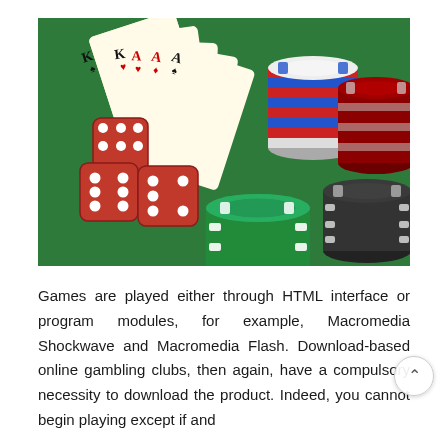[Figure (photo): Casino gambling scene on a green felt table with red dice, playing cards (King and Aces visible), and stacks of casino chips in green, white/blue/red, and black/white colors.]
Games are played either through HTML interface or program modules, for example, Macromedia Shockwave and Macromedia Flash. Download-based online gambling clubs, then again, have a compulsory necessity to download the product. Indeed, you cannot begin playing except if and